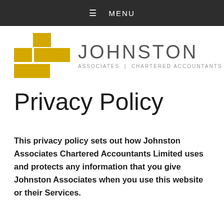≡ MENU
[Figure (logo): Johnston Associates Chartered Accountants logo with yellow cross/grid icon and grey text]
Privacy Policy
This privacy policy sets out how Johnston Associates Chartered Accountants Limited uses and protects any information that you give Johnston Associates when you use this website or their Services.